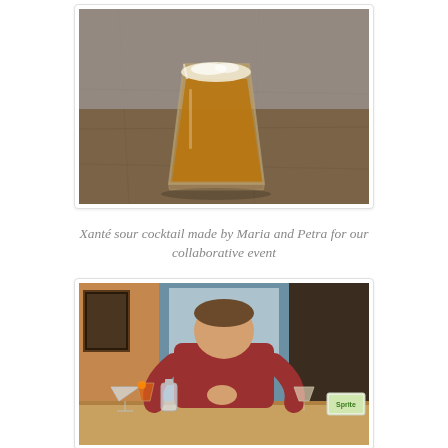[Figure (photo): A glass of amber-colored cocktail with foam on top, sitting on a wooden table. The glass is a short tumbler with ice visible. Background is blurred.]
Xanté sour cocktail made by Maria and Petra for our collaborative event
[Figure (photo): A young man in a red t-shirt sitting at a wooden table, drinking from a glass. Multiple cocktails are on the table in front of him including a martini glass, an Aperol spritz, a small bottle, and other drinks. A Sprite bottle/container is visible on the right.]
...